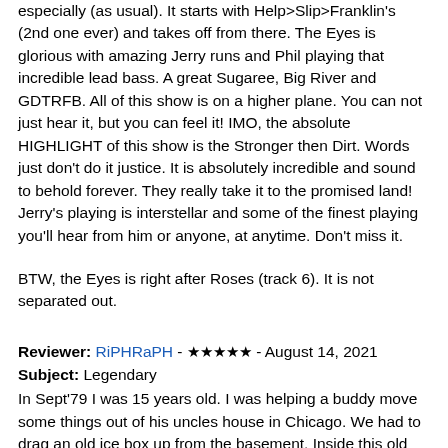especially (as usual). It starts with Help>Slip>Franklin's (2nd one ever) and takes off from there. The Eyes is glorious with amazing Jerry runs and Phil playing that incredible lead bass. A great Sugaree, Big River and GDTRFB. All of this show is on a higher plane. You can not just hear it, but you can feel it! IMO, the absolute HIGHLIGHT of this show is the Stronger then Dirt. Words just don't do it justice. It is absolutely incredible and sound to behold forever. They really take it to the promised land! Jerry's playing is interstellar and some of the finest playing you'll hear from him or anyone, at anytime. Don't miss it.
BTW, the Eyes is right after Roses (track 6). It is not separated out.
Reviewer: RiPHRaPH - ★★★★★ - August 14, 2021
Subject: Legendary
In Sept'79 I was 15 years old. I was helping a buddy move some things out of his uncles house in Chicago. We had to drag an old ice box up from the basement. Inside this old GE where the ice trays were, we found this Great American Hall show and Englishtown '77... Wait for it... On 8-track!! We played the shit out them and a few months later I saw my